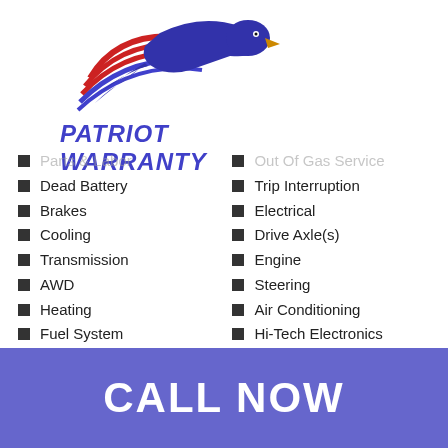[Figure (logo): Patriot Warranty logo: eagle head with American flag feathers/wing, blue and red colors]
PATRIOT WARRANTY
Parts & Labor
Dead Battery
Brakes
Cooling
Transmission
AWD
Heating
Fuel System
Front & Rear Suspension
Out Of Gas Service
Trip Interruption
Electrical
Drive Axle(s)
Engine
Steering
Air Conditioning
Hi-Tech Electronics
CALL NOW